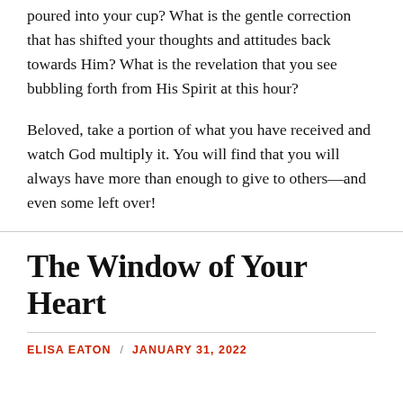poured into your cup? What is the gentle correction that has shifted your thoughts and attitudes back towards Him? What is the revelation that you see bubbling forth from His Spirit at this hour?
Beloved, take a portion of what you have received and watch God multiply it. You will find that you will always have more than enough to give to others—and even some left over!
The Window of Your Heart
ELISA EATON / JANUARY 31, 2022